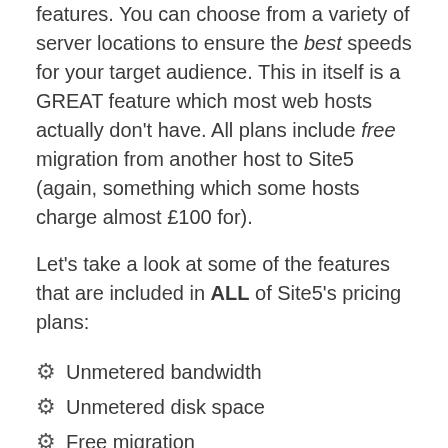features. You can choose from a variety of server locations to ensure the best speeds for your target audience. This in itself is a GREAT feature which most web hosts actually don't have. All plans include free migration from another host to Site5 (again, something which some hosts charge almost £100 for).
Let's take a look at some of the features that are included in ALL of Site5's pricing plans:
Unmetered bandwidth
Unmetered disk space
Free migration
Backups
Backstage access (control panel)
45-day money-back guarantee
Malware protection